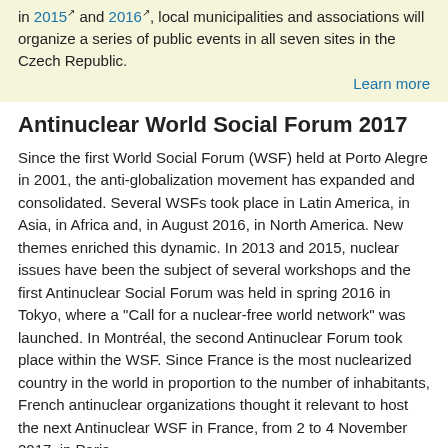in 2015 and 2016, local municipalities and associations will organize a series of public events in all seven sites in the Czech Republic.
Learn more
Antinuclear World Social Forum 2017
Since the first World Social Forum (WSF) held at Porto Alegre in 2001, the anti-globalization movement has expanded and consolidated. Several WSFs took place in Latin America, in Asia, in Africa and, in August 2016, in North America. New themes enriched this dynamic. In 2013 and 2015, nuclear issues have been the subject of several workshops and the first Antinuclear Social Forum was held in spring 2016 in Tokyo, where a "Call for a nuclear-free world network" was launched. In Montréal, the second Antinuclear Forum took place within the WSF. Since France is the most nuclearized country in the world in proportion to the number of inhabitants, French antinuclear organizations thought it relevant to host the next Antinuclear WSF in France, from 2 to 4 November 2017, in Paris.
Read the complete article
Czech state stopped geological surveys and payment of financial compensation in 7 sites
Based on the comments from communities and associations, the Ministry of the Environment (MŽP) has decided not to extend the validity period of exploration permits for geological work by two years in relation to the siting